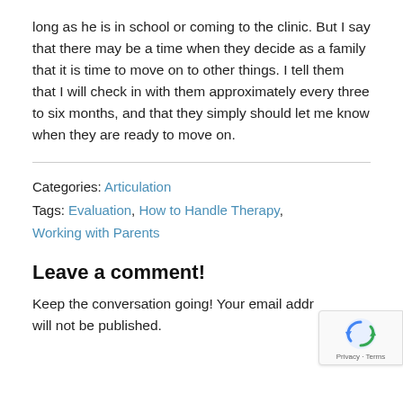long as he is in school or coming to the clinic. But I say that there may be a time when they decide as a family that it is time to move on to other things. I tell them that I will check in with them approximately every three to six months, and that they simply should let me know when they are ready to move on.
Categories: Articulation
Tags: Evaluation, How to Handle Therapy, Working with Parents
Leave a comment!
Keep the conversation going! Your email address will not be published.